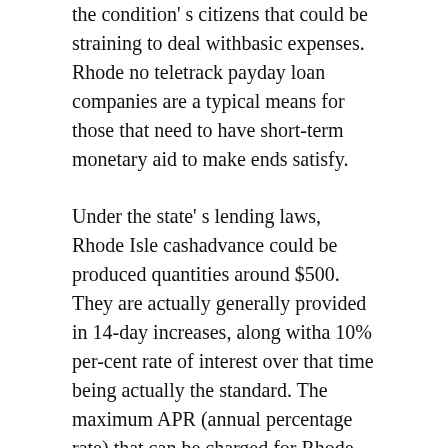the condition' s citizens that could be straining to deal withbasic expenses. Rhode no teletrack payday loan companies are a typical means for those that need to have short-term monetary aid to make ends satisfy.
Under the state' s lending laws, Rhode Isle cashadvance could be produced quantities around $500. They are actually generally provided in 14-day increases, along witha 10% per-cent rate of interest over that time being actually the standard. The maximum APR (annual percentage rate) that can be charged for Rhode no teletrack payday loan companies is 260% percent. A salary loan may just be actually rolled over as soon as, and a borrower may only possess 3 salary fundings exceptional at any kind of provided time.
Rhode Isle Personal financings and Installment loans